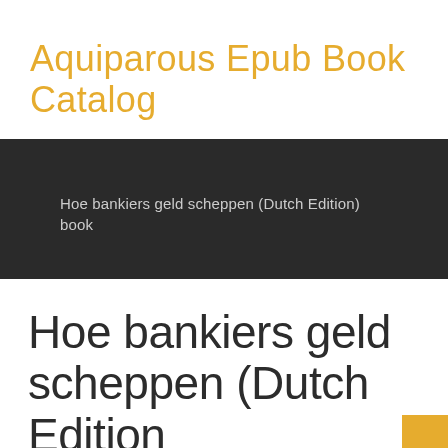Aquiparous Epub Book Catalog
Hoe bankiers geld scheppen (Dutch Edition) book
Hoe bankiers geld scheppen (Dutch Edition)